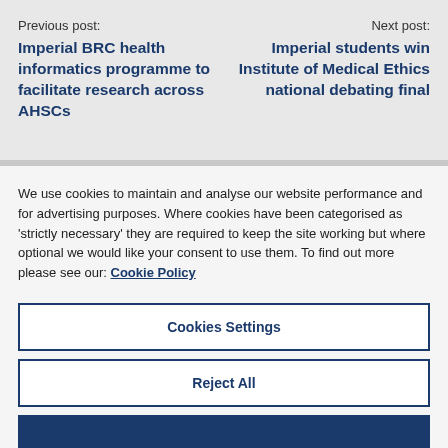Previous post:
Imperial BRC health informatics programme to facilitate research across AHSCs
Next post:
Imperial students win Institute of Medical Ethics national debating final
We use cookies to maintain and analyse our website performance and for advertising purposes. Where cookies have been categorised as 'strictly necessary' they are required to keep the site working but where optional we would like your consent to use them. To find out more please see our: Cookie Policy
Cookies Settings
Reject All